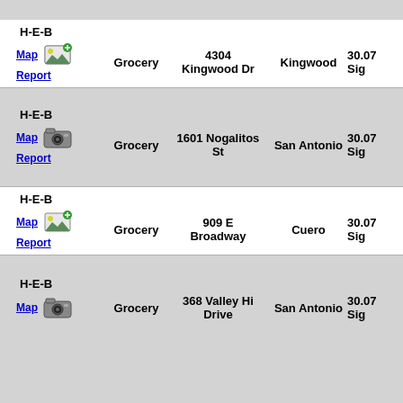| Store | Links | Type | Address | City | Distance |
| --- | --- | --- | --- | --- | --- |
| H-E-B | Map / Report | Grocery | 4304 Kingwood Dr | Kingwood | 30.07 Sig |
| H-E-B | Map / Report | Grocery | 1601 Nogalitos St | San Antonio | 30.07 Sig |
| H-E-B | Map / Report | Grocery | 909 E Broadway | Cuero | 30.07 Sig |
| H-E-B | Map / Report | Grocery | 368 Valley Hi Drive | San Antonio | 30.07 Sig |